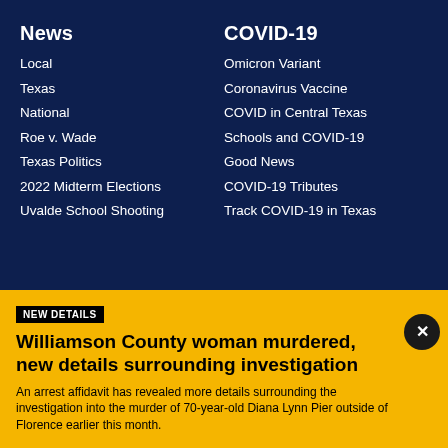News
Local
Texas
National
Roe v. Wade
Texas Politics
2022 Midterm Elections
Uvalde School Shooting
COVID-19
Omicron Variant
Coronavirus Vaccine
COVID in Central Texas
Schools and COVID-19
Good News
COVID-19 Tributes
Track COVID-19 in Texas
NEW DETAILS
Williamson County woman murdered, new details surrounding investigation
An arrest affidavit has revealed more details surrounding the investigation into the murder of 70-year-old Diana Lynn Pier outside of Florence earlier this month.